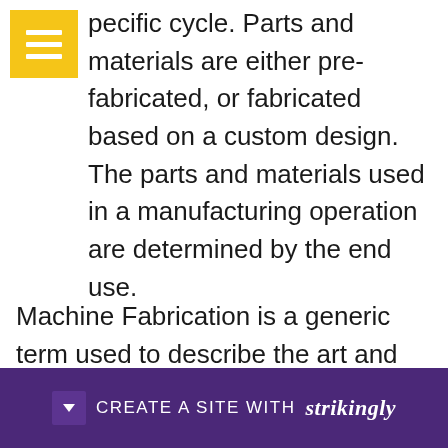pecific cycle. Parts and materials are either pre-fabricated, or fabricated based on a custom design. The parts and materials used in a manufacturing operation are determined by the end use.
Machine Fabrication is a generic term used to describe the art and science of manufacturing machine parts and components from various raw materials. There are many types of machine fabrication processes that can be used for different purposes. There are machine fabricators that [partially obscured] to meta[partially obscured] to
[Figure (other): Purple banner overlay at the bottom of the page with a dropdown arrow, text 'CREATE A SITE WITH' and the brand name 'strikingly' in bold italic.]